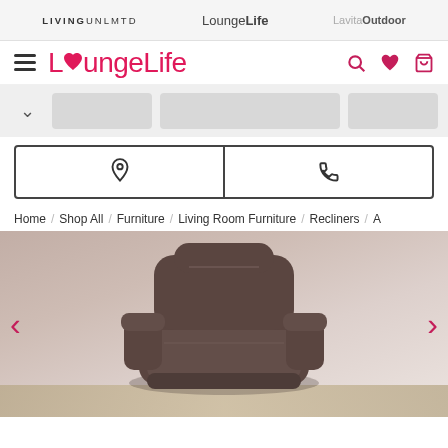LIVING UNLMTD   LoungeLife   LavitaOutdoor
[Figure (logo): LoungeLife logo with hamburger menu and search/heart/cart icons]
[Figure (screenshot): Category navigation bar with dropdown chevron and three placeholder pills]
[Figure (infographic): Two contact buttons side by side with location pin icon and phone icon, enclosed in dark border]
Home / Shop All / Furniture / Living Room Furniture / Recliners / A
[Figure (photo): Dark brown leather recliner chair on light wood floor against neutral beige background, with pink left and right carousel arrows]